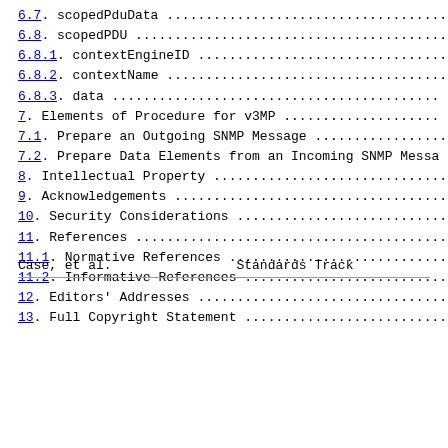6.7. scopedPduData .....................................
6.8. scopedPDU .........................................
6.8.1. contextEngineID ................................
6.8.2. contextName ....................................
6.8.3. data ...........................................
7. Elements of Procedure for v3MP ......................
7.1. Prepare an Outgoing SNMP Message ..................
7.2. Prepare Data Elements from an Incoming SNMP Messa
8. Intellectual Property ...............................
9. Acknowledgements ....................................
10. Security Considerations ............................
11. References .........................................
11.1. Normative References .............................
11.2. Informative References ...........................
12. Editors' Addresses .................................
13. Full Copyright Statement ...........................
Case, et al.                    Standards Track
RFC 3412       Message Processing and Dispatching for SNMP
1.  Introduction
The Architecture for describing Internet Management Fr...